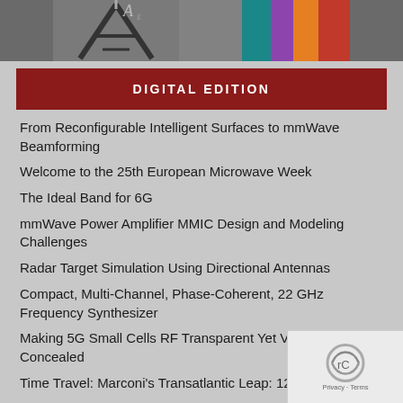[Figure (photo): Top banner image showing antenna/equipment silhouette and colorful books, on grey background]
DIGITAL EDITION
From Reconfigurable Intelligent Surfaces to mmWave Beamforming
Welcome to the 25th European Microwave Week
The Ideal Band for 6G
mmWave Power Amplifier MMIC Design and Modeling Challenges
Radar Target Simulation Using Directional Antennas
Compact, Multi-Channel, Phase-Coherent, 22 GHz Frequency Synthesizer
Making 5G Small Cells RF Transparent Yet Visible/Concealed
Time Travel: Marconi's Transatlantic Leap: 12